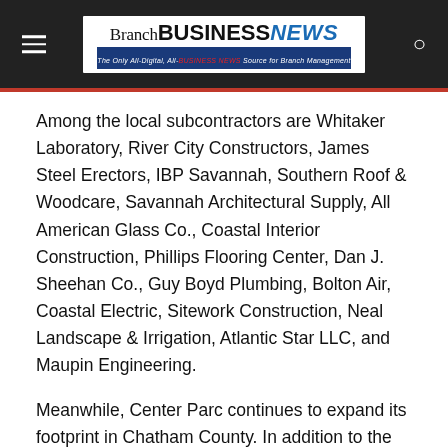Branch BUSINESS NEWS — The Only All-Digital, All-BUSINESS NEWS Source for Branch Management
Among the local subcontractors are Whitaker Laboratory, River City Constructors, James Steel Erectors, IBP Savannah, Southern Roof & Woodcare, Savannah Architectural Supply, All American Glass Co., Coastal Interior Construction, Phillips Flooring Center, Dan J. Sheehan Co., Guy Boyd Plumbing, Bolton Air, Coastal Electric, Sitework Construction, Neal Landscape & Irrigation, Atlantic Star LLC, and Maupin Engineering.
Meanwhile, Center Parc continues to expand its footprint in Chatham County. In addition to the two store-based branches and the future flagship building, the credit union has eight branded Walgreens ATMs that is members can use for free and is considering adding some free-standing drive-up ATMs